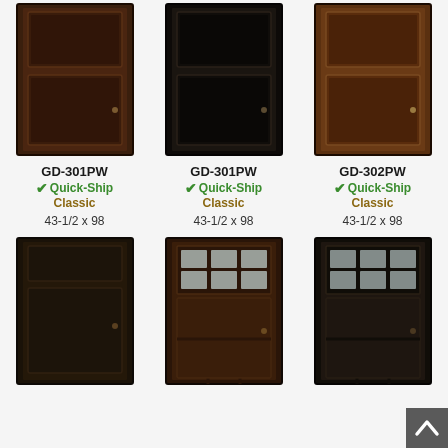[Figure (photo): Door product GD-301PW dark brown two-panel]
GD-301PW
Quick-Ship Classic
43-1/2 x 98
[Figure (photo): Door product GD-301PW black two-panel]
GD-301PW
Quick-Ship Classic
43-1/2 x 98
[Figure (photo): Door product GD-302PW medium brown two-panel]
GD-302PW
Quick-Ship Classic
43-1/2 x 98
[Figure (photo): Door product dark single panel bottom row left]
[Figure (photo): Door product dark brown craftsman style with glass panes top]
[Figure (photo): Door product dark craftsman style with glass panes top]